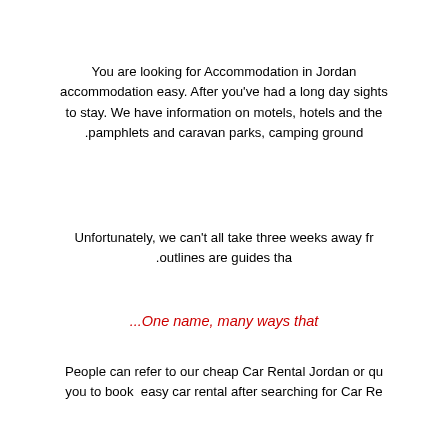You are looking for Accommodation in Jordan accommodation easy. After you've had a long day sights to stay. We have information on motels, hotels and the .pamphlets and caravan parks, camping ground
Unfortunately, we can't all take three weeks away fr .outlines are guides tha
...One name, many ways that
People can refer to our cheap Car Rental Jordan or qu you to book easy car rental after searching for Car Re